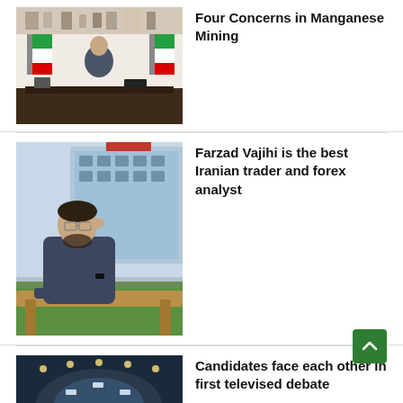[Figure (photo): Man in suit sitting at a desk in an office with Iranian flags and framed items on shelves behind him]
Four Concerns in Manganese Mining
[Figure (photo): Young man with beard and glasses sitting outdoors at a wooden table, leaning on his hand, in front of a glass building]
Farzad Vajihi is the best Iranian trader and forex analyst
[Figure (photo): A debate stage viewed from above with candidates seated at a circular arrangement, with a large decorative element in the foreground]
Candidates face each other in first televised debate